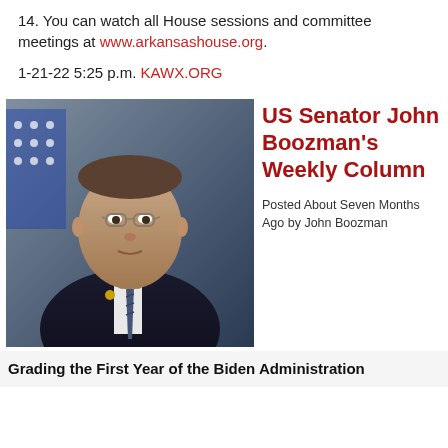14. You can watch all House sessions and committee meetings at www.arkansashouse.org.
1-21-22 5:25 p.m. KAWX.ORG
[Figure (photo): Official portrait photo of US Senator John Boozman in a suit and tie with an American flag in the background]
US Senator John Boozman's Weekly Column
Posted About Seven Months Ago by John Boozman
Grading the First Year of the Biden Administration